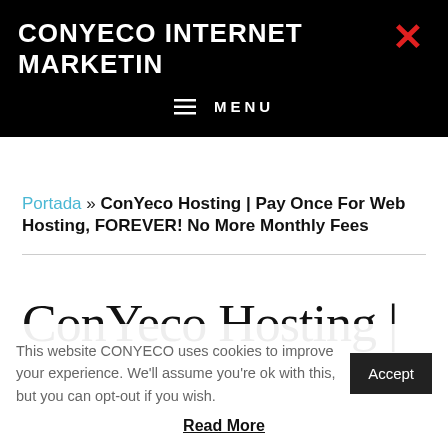CONYECO INTERNET MARKETING
MENU
Portada » ConYeco Hosting | Pay Once For Web Hosting, FOREVER! No More Monthly Fees
ConYeco Hosting |
This website CONYECO uses cookies to improve your experience. We'll assume you're ok with this, but you can opt-out if you wish.
Accept
Read More